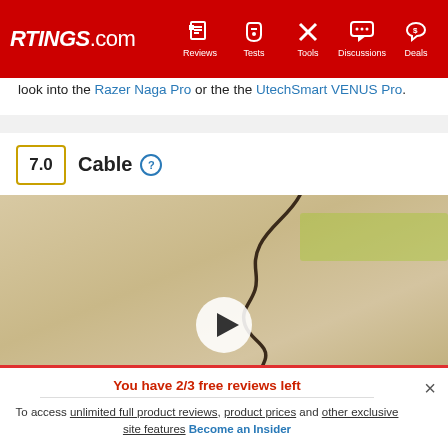RTINGS.com — Reviews, Tests, Tools, Discussions, Deals
look into the Razer Naga Pro or the the UtechSmart VENUS Pro.
7.0 Cable
[Figure (photo): Close-up photo of a mouse cable on a light beige/tan surface, with a play button overlay indicating a video. A green highlighted area is visible in the upper right.]
You have 2/3 free reviews left
To access unlimited full product reviews, product prices and other exclusive site features Become an Insider